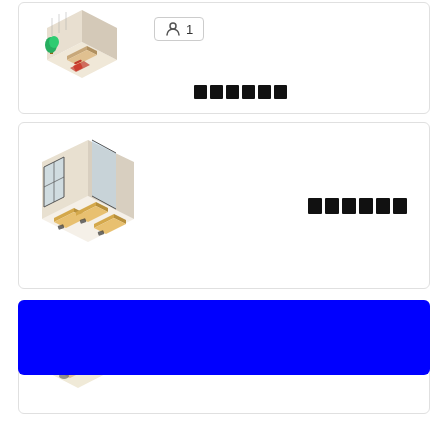[Figure (illustration): Isometric illustration of a small office room with desk, chair, and plant]
1
██████
[Figure (illustration): Isometric illustration of a larger open-plan office with multiple desks and chairs]
██████
[Figure (illustration): Isometric illustration of a conference/meeting room with multiple seats]
WeWork All Access   3   25%
[Figure (other): Blue filled rectangle bar]